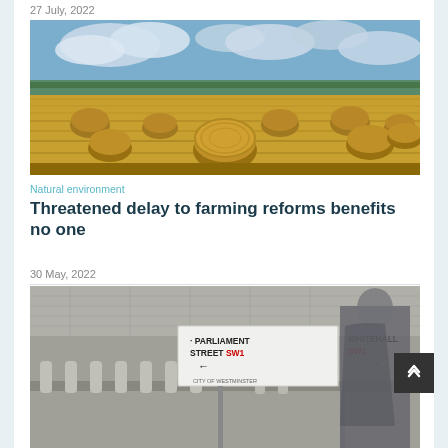27 July, 2022
[Figure (photo): A harvested farm field with round hay bales under a partly cloudy sky]
Natural environment
Threatened delay to farming reforms benefits no one
30 May, 2022
[Figure (photo): Street signs for Parliament Street SW1 and Whitehall SW1 with a blurred person walking past in a suit, City of Westminster]